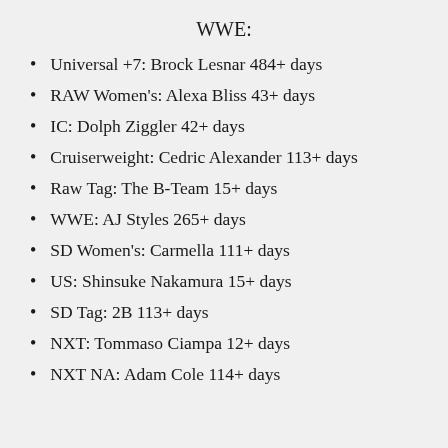WWE:
Universal +7: Brock Lesnar 484+ days
RAW Women's: Alexa Bliss 43+ days
IC: Dolph Ziggler 42+ days
Cruiserweight: Cedric Alexander 113+ days
Raw Tag: The B-Team 15+ days
WWE: AJ Styles 265+ days
SD Women's: Carmella 111+ days
US: Shinsuke Nakamura 15+ days
SD Tag: 2B 113+ days
NXT: Tommaso Ciampa 12+ days
NXT NA: Adam Cole 114+ days